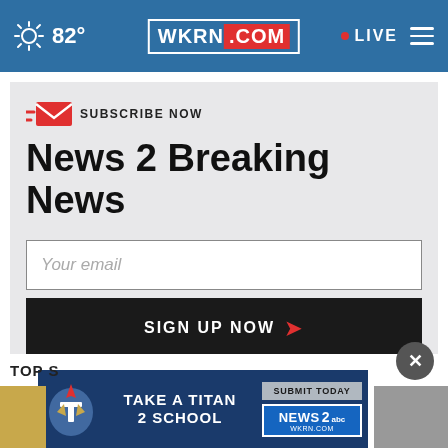82° WKRN.COM LIVE
SUBSCRIBE NOW
News 2 Breaking News
Your email
SIGN UP NOW
TOP S
[Figure (infographic): Take A Titan 2 School advertisement banner with Tennessee Titans logo, Submit Today button, and News 2 WKRN.com logo]